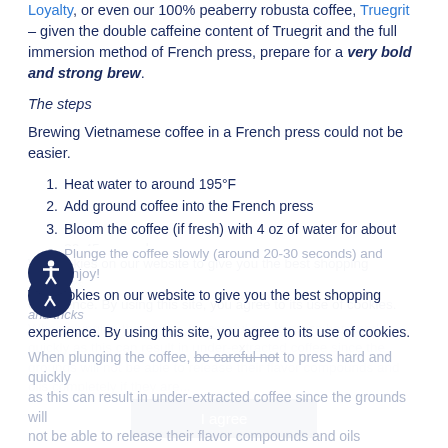Loyalty, or even our 100% peaberry robusta coffee, Truegrit – given the double caffeine content of Truegrit and the full immersion method of French press, prepare for a very bold and strong brew.
The steps
Brewing Vietnamese coffee in a French press could not be easier.
1. Heat water to around 195°F
2. Add ground coffee into the French press
3. Bloom the coffee (if fresh) with 4 oz of water for about 30-45 seconds
4. Pour the rest of the hot water
5. Stir the coffee around and let steep for 4 minutes
6. Plunge the coffee slowly (around 20-30 seconds) and enjoy!
We use cookies on our website to give you the best shopping experience. By using this site, you agree to its use of cookies.
When plunging the coffee, be careful not to press hard and quickly as this can result in under-extracted coffee since the grounds will not be able to release their flavor compounds and oils completely if they are pressed too...